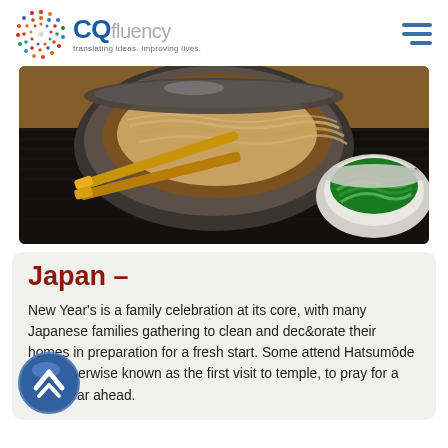CQ fluency — translating ideas. improving lives.
[Figure (photo): Close-up photo of a bowl of Japanese noodle soup (soba/ramen) with chopsticks resting on a dark tray, and a small bowl of green onions in the background.]
Japan –
New Year's is a family celebration at its core, with many Japanese families gathering to clean and decorate their homes in preparation for a fresh start. Some attend Hatsumōde (　), otherwise known as the first visit to temple, to pray for a good year ahead.